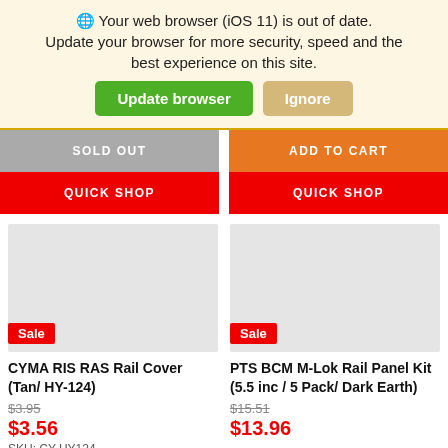🌐 Your web browser (iOS 11) is out of date. Update your browser for more security, speed and the best experience on this site.
Update browser | Ignore
SOLD OUT
ADD TO CART
QUICK SHOP
QUICK SHOP
[Figure (photo): Product image placeholder (light gray) for CYMA RIS RAS Rail Cover with Sale badge]
[Figure (photo): Product image placeholder (light gray) for PTS BCM M-Lok Rail Panel Kit with Sale badge]
CYMA RIS RAS Rail Cover (Tan/ HY-124)
$3.95
$3.56
SKU: CY-HY124
PTS BCM M-Lok Rail Panel Kit (5.5 inc / 5 Pack/ Dark Earth)
$15.51
$13.96